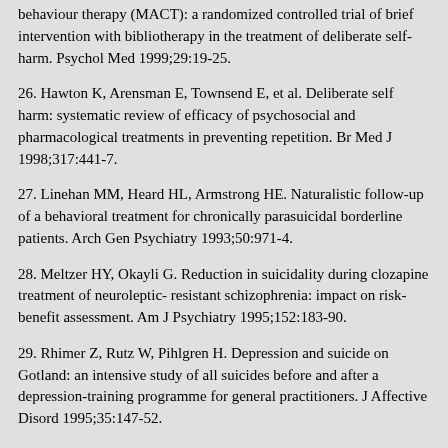behaviour therapy (MACT): a randomized controlled trial of brief intervention with bibliotherapy in the treatment of deliberate self-harm. Psychol Med 1999;29:19-25.
26. Hawton K, Arensman E, Townsend E, et al. Deliberate self harm: systematic review of efficacy of psychosocial and pharmacological treatments in preventing repetition. Br Med J 1998;317:441-7.
27. Linehan MM, Heard HL, Armstrong HE. Naturalistic follow-up of a behavioral treatment for chronically parasuicidal borderline patients. Arch Gen Psychiatry 1993;50:971-4.
28. Meltzer HY, Okayli G. Reduction in suicidality during clozapine treatment of neuroleptic- resistant schizophrenia: impact on risk-benefit assessment. Am J Psychiatry 1995;152:183-90.
29. Rhimer Z, Rutz W, Pihlgren H. Depression and suicide on Gotland: an intensive study of all suicides before and after a depression-training programme for general practitioners. J Affective Disord 1995;35:147-52.
30. Verkes RJ, Van der Mast RC, Hengevold VW, et al. Reduction by paroxetine of suicidal behavior in patients with repeated suicide attempts but not major depression. Am J Psychiatry 1998;155:543-7.